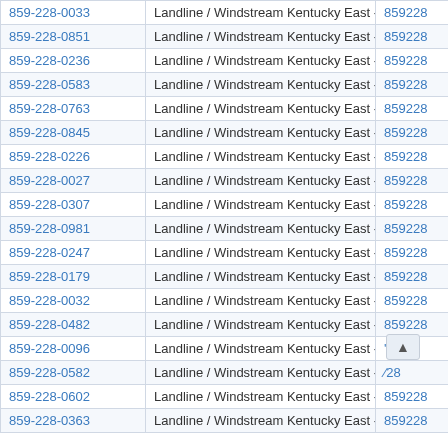| Phone | Type | Number |
| --- | --- | --- |
| 859-228-0033 | Landline / Windstream Kentucky East - Lexington | 859228 |
| 859-228-0851 | Landline / Windstream Kentucky East - Lexington | 859228 |
| 859-228-0236 | Landline / Windstream Kentucky East - Lexington | 859228 |
| 859-228-0583 | Landline / Windstream Kentucky East - Lexington | 859228 |
| 859-228-0763 | Landline / Windstream Kentucky East - Lexington | 859228 |
| 859-228-0845 | Landline / Windstream Kentucky East - Lexington | 859228 |
| 859-228-0226 | Landline / Windstream Kentucky East - Lexington | 859228 |
| 859-228-0027 | Landline / Windstream Kentucky East - Lexington | 859228 |
| 859-228-0307 | Landline / Windstream Kentucky East - Lexington | 859228 |
| 859-228-0981 | Landline / Windstream Kentucky East - Lexington | 859228 |
| 859-228-0247 | Landline / Windstream Kentucky East - Lexington | 859228 |
| 859-228-0179 | Landline / Windstream Kentucky East - Lexington | 859228 |
| 859-228-0032 | Landline / Windstream Kentucky East - Lexington | 859228 |
| 859-228-0482 | Landline / Windstream Kentucky East - Lexington | 859228 |
| 859-228-0096 | Landline / Windstream Kentucky East - Lexington | 128 |
| 859-228-0582 | Landline / Windstream Kentucky East - Lexington | 228 |
| 859-228-0602 | Landline / Windstream Kentucky East - Lexington | 859228 |
| 859-228-0363 | Landline / Windstream Kentucky East - Lexington | 859228 |